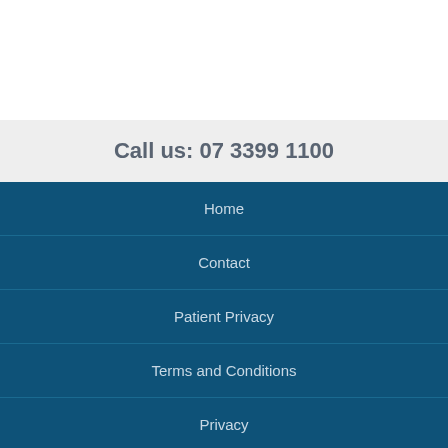Call us: 07 3399 1100
Home
Contact
Patient Privacy
Terms and Conditions
Privacy
Disclaimer
Copyright